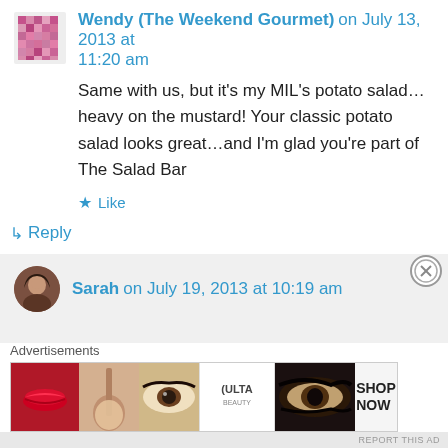Wendy (The Weekend Gourmet) on July 13, 2013 at 11:20 am
Same with us, but it’s my MIL’s potato salad…heavy on the mustard! Your classic potato salad looks great…and I’m glad you’re part of The Salad Bar
★ Like
↳ Reply
Sarah on July 19, 2013 at 10:19 am
Advertisements
[Figure (illustration): Advertisement banner for ULTA beauty featuring close-up makeup images and SHOP NOW call to action]